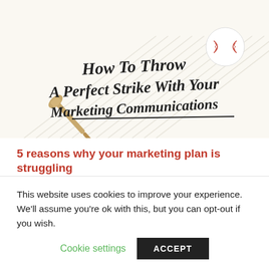[Figure (illustration): Infographic header image with a baseball bat, baseball, and diagonal stripe decorations on a cream background. Text reads: 'How To Throw A Perfect Strike With Your Marketing Communications' in script/italic font.]
5 reasons why your marketing plan is struggling
by Joe | Feb 22, 2016 | Marketing
This website uses cookies to improve your experience. We'll assume you're ok with this, but you can opt-out if you wish.
Cookie settings   ACCEPT